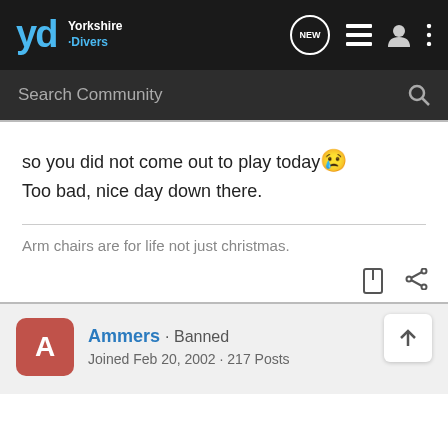Yorkshire Divers
so you did not come out to play today😢
Too bad, nice day down there.
Arm chairs are for life not just christmas.
Ammers · Banned
Joined Feb 20, 2002 · 217 Posts